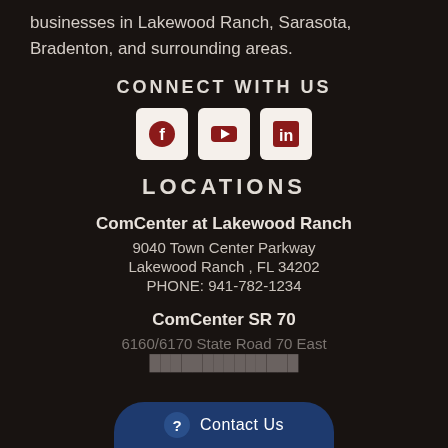businesses in Lakewood Ranch, Sarasota, Bradenton, and surrounding areas.
CONNECT WITH US
[Figure (infographic): Three social media icons: Facebook, YouTube, LinkedIn in light rounded square boxes]
LOCATIONS
ComCenter at Lakewood Ranch
9040 Town Center Parkway
Lakewood Ranch , FL 34202
PHONE: 941-782-1234
ComCenter SR 70
6160/6170 State Road 70 East
Contact Us